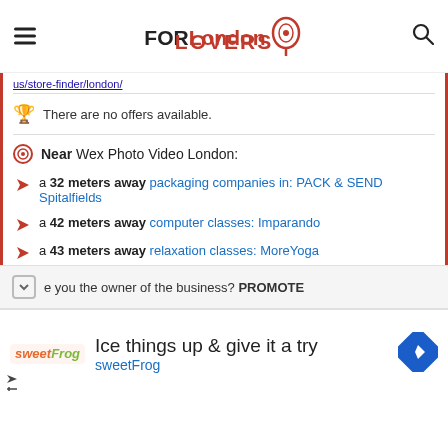FORLondon LOVERS
us/store-finder/london/
There are no offers available.
Near Wex Photo Video London:
a 32 meters away packaging companies in: PACK & SEND Spitalfields
a 42 meters away computer classes: Imparando
a 43 meters away relaxation classes: MoreYoga
Are you the owner of the business? PROMOTE
[Figure (infographic): Advertisement banner for sweetFrog: 'Ice things up & give it a try sweetFrog']